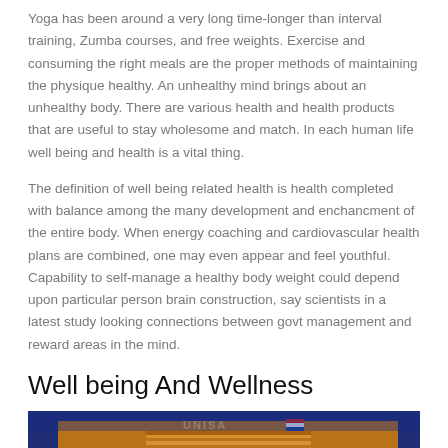Yoga has been around a very long time-longer than interval training, Zumba courses, and free weights. Exercise and consuming the right meals are the proper methods of maintaining the physique healthy. An unhealthy mind brings about an unhealthy body. There are various health and health products that are useful to stay wholesome and match. In each human life well being and health is a vital thing.
The definition of well being related health is health completed with balance among the many development and enchancment of the entire body. When energy coaching and cardiovascular health plans are combined, one may even appear and feel youthful. Capability to self-manage a healthy body weight could depend upon particular person brain construction, say scientists in a latest study looking connections between govt management and reward areas in the mind.
Well being And Wellness
[Figure (photo): Photo of a tall building with 'UNISA' text on it against a deep blue sky, showing a pyramid-like stepped facade structure with warm orange/brown tones.]